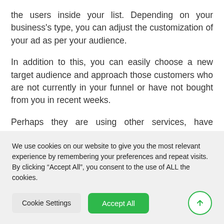the users inside your list. Depending on your business's type, you can adjust the customization of your ad as per your audience.
In addition to this, you can easily choose a new target audience and approach those customers who are not currently in your funnel or have not bought from you in recent weeks.
Perhaps they are using other services, have stopped purchasing from you, or preferring other brands [text continues below fold]
We use cookies on our website to give you the most relevant experience by remembering your preferences and repeat visits. By clicking “Accept All”, you consent to the use of ALL the cookies.